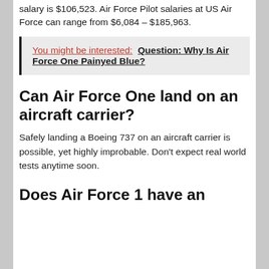salary is $106,523. Air Force Pilot salaries at US Air Force can range from $6,084 – $185,963.
You might be interested:  Question: Why Is Air Force One Painyed Blue?
Can Air Force One land on an aircraft carrier?
Safely landing a Boeing 737 on an aircraft carrier is possible, yet highly improbable. Don't expect real world tests anytime soon.
Does Air Force 1 have an